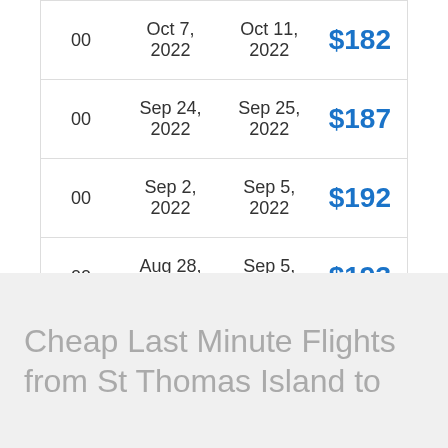|  | Depart | Return | Price |
| --- | --- | --- | --- |
| 00 | Oct 7, 2022 | Oct 11, 2022 | $182 |
| 00 | Sep 24, 2022 | Sep 25, 2022 | $187 |
| 00 | Sep 2, 2022 | Sep 5, 2022 | $192 |
| 00 | Aug 28, 2022 | Sep 5, 2022 | $193 |
| 00 | Oct 8, 2022 | Oct 8, 2022 | $208 |
Cheap Last Minute Flights from St Thomas Island to